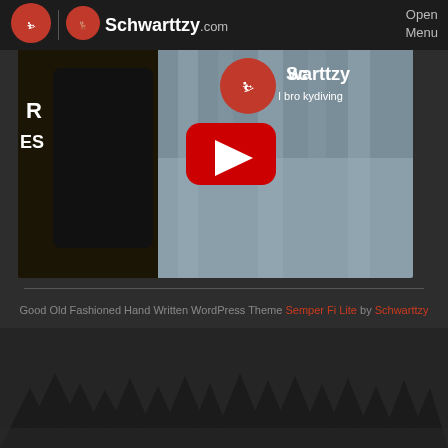Schwarttzy.com   Open Menu
[Figure (screenshot): YouTube video thumbnail showing Schwarttzy channel logo and video title 'I bro...kydiving' with a red YouTube play button overlay. The thumbnail shows a parachuting/skydiving theme with the Schwarttzy.com logo (red circle with skydiver silhouette) and channel name in bold white text.]
Good Old Fashioned Hand Written WordPress Theme Semper Fi Lite by Schwarttzy